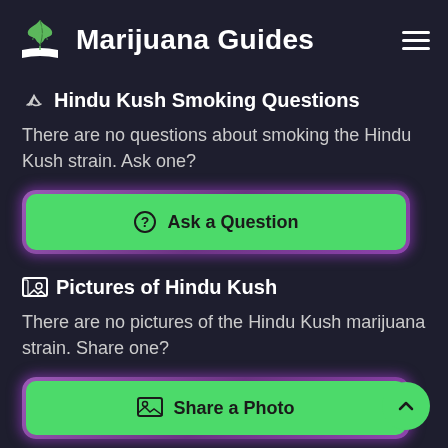Marijuana Guides
🚬 Hindu Kush Smoking Questions
There are no questions about smoking the Hindu Kush strain. Ask one?
[Figure (other): Green button with question mark icon labeled 'Ask a Question', with purple glow border]
🖼 Pictures of Hindu Kush
There are no pictures of the Hindu Kush marijuana strain. Share one?
[Figure (other): Green button with image icon labeled 'Share a Photo', with purple glow border]